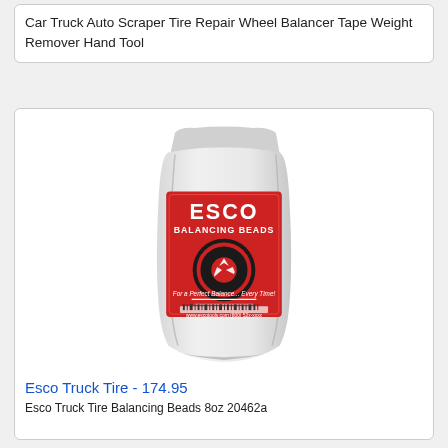Car Truck Auto Scraper Tire Repair Wheel Balancer Tape Weight Remover Hand Tool
[Figure (photo): ESCO Balancing Beads product bag - white plastic bag with red label showing ESCO BALANCING BEADS text and tire/wheel logo]
Esco Truck Tire - 174.95
Esco Truck Tire Balancing Beads 8oz 20462a